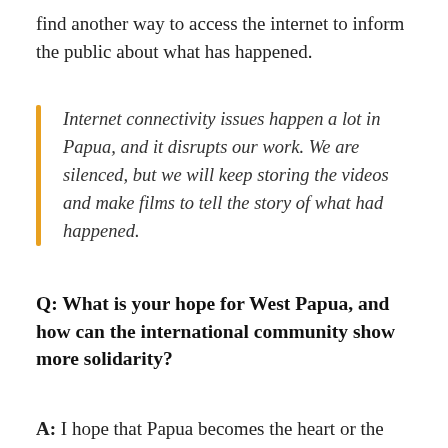find another way to access the internet to inform the public about what has happened.
Internet connectivity issues happen a lot in Papua, and it disrupts our work. We are silenced, but we will keep storing the videos and make films to tell the story of what had happened.
Q: What is your hope for West Papua, and how can the international community show more solidarity?
A: I hope that Papua becomes the heart or the